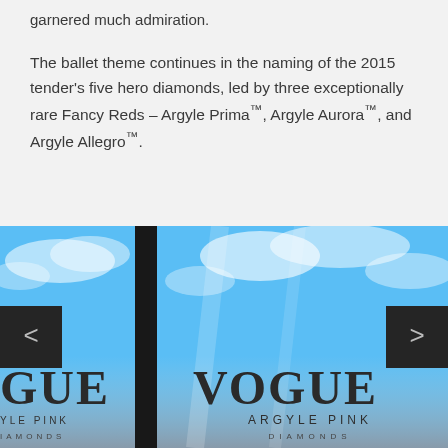garnered much admiration.
The ballet theme continues in the naming of the 2015 tender's five hero diamonds, led by three exceptionally rare Fancy Reds – Argyle Prima™, Argyle Aurora™, and Argyle Allegro™.
[Figure (photo): Photograph showing a window display with 'VOGUE ARGYLE PINK DIAMONDS' branding visible through glass panes, with a blue sky background. Navigation arrows on left and right sides. The image appears to show two panels side by side with a dark vertical divider between them.]